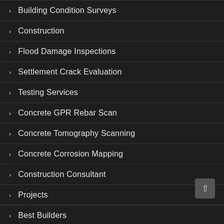Building Condition Surveys
Construction
Flood Damage Inspections
Settlement Crack Evaluation
Testing Services
Concrete GPR Rebar Scan
Concrete Tomography Scanning
Concrete Corrosion Mapping
Construction Consultant
Projects
Best Builders
Complete Building Envelope Analysis Stucco Evaluation Damage